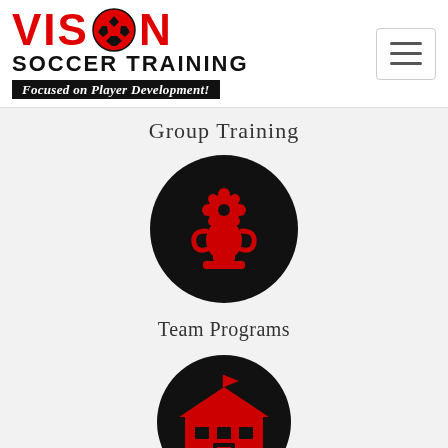[Figure (logo): Vision Soccer Training logo with red VISION text, soccer ball icon, black SOCCER TRAINING text, and italic tagline 'Focused on Player Development!']
[Figure (other): Hamburger menu button (three horizontal lines) in top right corner]
Group Training
[Figure (illustration): Black circle with red trophy/award icon representing Team Programs]
Team Programs
[Figure (illustration): Black circle with red school building icon representing School programs]